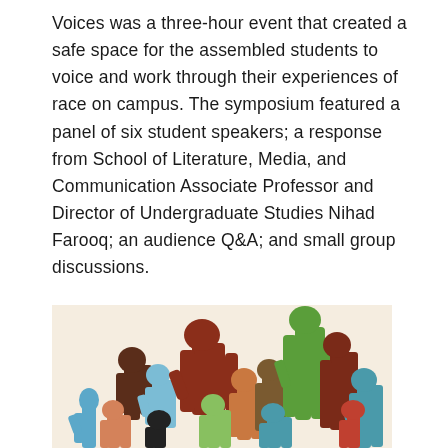Voices was a three-hour event that created a safe space for the assembled students to voice and work through their experiences of race on campus. The symposium featured a panel of six student speakers; a response from School of Literature, Media, and Communication Associate Professor and Director of Undergraduate Studies Nihad Farooq; an audience Q&A; and small group discussions.
[Figure (illustration): Colorful illustration of many raised hands in various colors including blue, dark brown, red-brown, orange, green, teal, dark green, light green, salmon, and black, set against a beige/cream background. The hands are stylized and diverse, symbolizing voices and participation.]